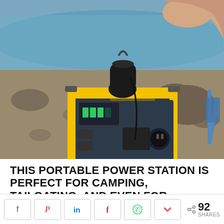[Figure (photo): A yellow and dark gray LiPower portable power station sitting on a rocky beach shore. A person's hand is placing a black portable speaker on top of the unit. A folding camp chair is visible on the right, and a metal camping cup sits on the rocks to the right of the power station. Water is visible in the background.]
THIS PORTABLE POWER STATION IS PERFECT FOR CAMPING, TAILGATING, AND EVEN FOR WORKING
[Figure (infographic): Social sharing bar with buttons for Facebook, Pinterest, LinkedIn, Flipboard, WhatsApp, and Pocket, plus a share count showing 92 SHARES]